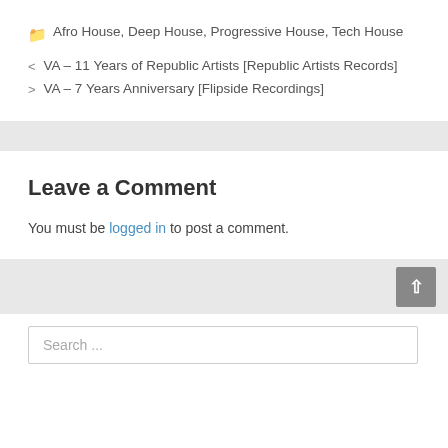Afro House, Deep House, Progressive House, Tech House
< VA – 11 Years of Republic Artists [Republic Artists Records]
> VA – 7 Years Anniversary [Flipside Recordings]
Leave a Comment
You must be logged in to post a comment.
Search ...